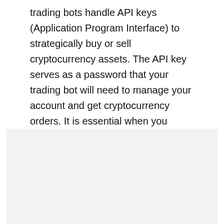trading bots handle API keys (Application Program Interface) to strategically buy or sell cryptocurrency assets. The API key serves as a password that your trading bot will need to manage your account and get cryptocurrency orders. It is essential when you require to withdraw the volume purchase of tokens.
[Figure (other): Gray shaded rectangular area (placeholder/image box) at the bottom of the page]